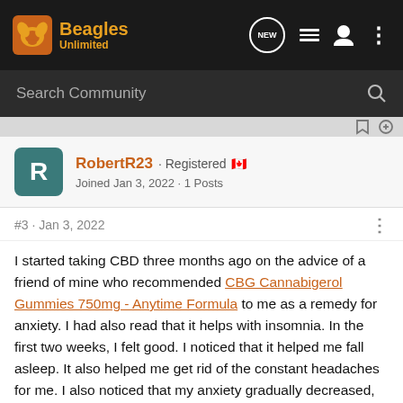Beagles Unlimited — NEW navigation bar
Search Community
RobertR23 · Registered 🇨🇦
Joined Jan 3, 2022 · 1 Posts
#3 · Jan 3, 2022
I started taking CBD three months ago on the advice of a friend of mine who recommended CBG Cannabigerol Gummies 750mg - Anytime Formula to me as a remedy for anxiety. I had also read that it helps with insomnia. In the first two weeks, I felt good. I noticed that it helped me fall asleep. It also helped me get rid of the constant headaches for me. I also noticed that my anxiety gradually decreased, and I could control my emotions better. But I didn't know it could be given to my dog, I'll definitely order CBD oil for the pet.